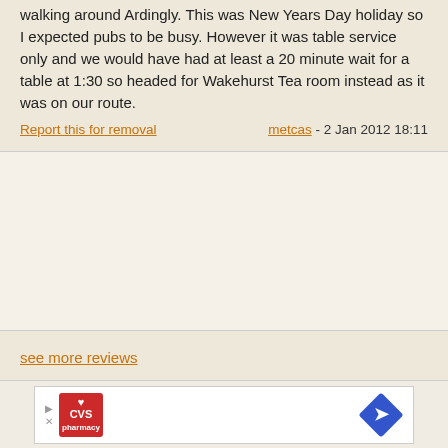walking around Ardingly. This was New Years Day holiday so I expected pubs to be busy. However it was table service only and we would have had at least a 20 minute wait for a table at 1:30 so headed for Wakehurst Tea room instead as it was on our route.
Report this for removal | metcas - 2 Jan 2012 18:11
see more reviews
GOT ANYTHING TO SAY ABOUT THIS PUB?
Please read our reviews policy before posting. Only registered users can post reviews. Please log in. If you don't have an account yet, register here.
[Figure (illustration): CVS Pharmacy advertisement banner with CVS logo on left and navigation arrow diamond shape on right]